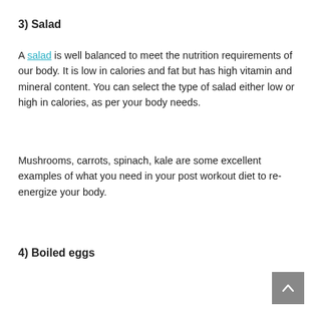3) Salad
A salad is well balanced to meet the nutrition requirements of our body. It is low in calories and fat but has high vitamin and mineral content. You can select the type of salad either low or high in calories, as per your body needs.
Mushrooms, carrots, spinach, kale are some excellent examples of what you need in your post workout diet to re-energize your body.
4) Boiled eggs